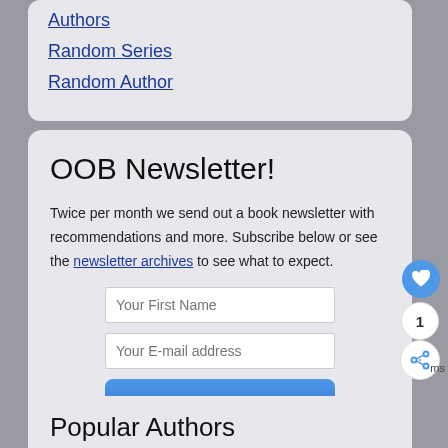Authors
Random Series
Random Author
OOB Newsletter!
Twice per month we send out a book newsletter with recommendations and more. Subscribe below or see the newsletter archives to see what to expect.
Popular Authors